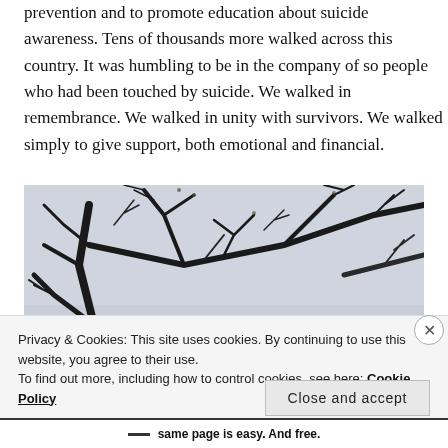prevention and to promote education about suicide awareness. Tens of thousands more walked across this country. It was humbling to be in the company of so people who had been touched by suicide. We walked in remembrance. We walked in unity with survivors. We walked simply to give support, both emotional and financial.
[Figure (photo): Photo of bare tree branches against a pale grey sky, taken from below looking upward.]
Privacy & Cookies: This site uses cookies. By continuing to use this website, you agree to their use.
To find out more, including how to control cookies, see here: Cookie Policy
— same page is easy. And free.